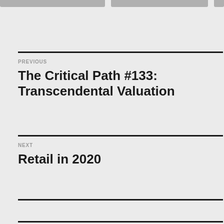PREVIOUS
The Critical Path #133: Transcendental Valuation
NEXT
Retail in 2020